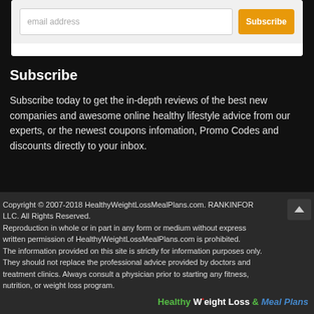email address
Subscribe
Subscribe today to get the in-depth reviews of the best new companies and awesome online healthy lifestyle advice from our experts, or the newest coupons infomation, Promo Codes and discounts directly to your inbox.
Copyright © 2007-2018 HealthyWeightLossMealPlans.com. RANKINFOR LLC. All Rights Reserved.
Reproduction in whole or in part in any form or medium without express written permission of HealthyWeightLossMealPlans.com is prohibited.
The information provided on this site is strictly for information purposes only. They should not replace the professional advice provided by doctors and treatment clinics. Always consult a physician prior to starting any fitness, nutrition, or weight loss program.
Healthy Weight Loss & Meal Plans